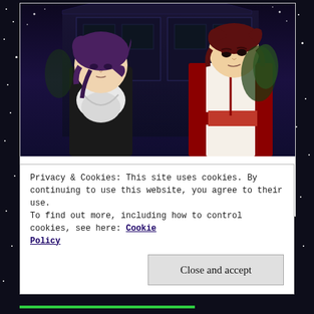[Figure (illustration): Anime-style illustration of two male characters standing outside a building at night. Left character has dark purple hair, wearing black outfit with white scarf. Right character has dark reddish-brown hair, wearing a red and white traditional Japanese outfit with a red sash.]
Full fic here. 1864, November In the end, they don't do anything. Further integration of Itou's forces into the Shinsengumi ranks continues to challenge, and Souji—
Privacy & Cookies: This site uses cookies. By continuing to use this website, you agree to their use.
To find out more, including how to control cookies, see here: Cookie Policy
Close and accept